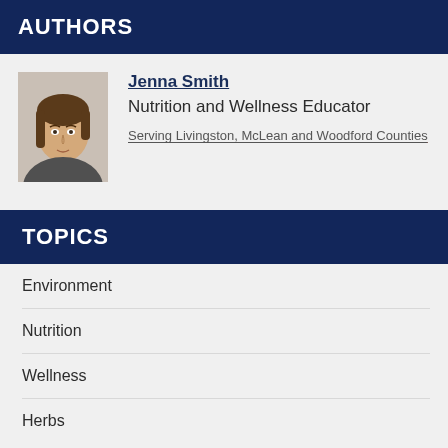AUTHORS
[Figure (photo): Headshot photo of Jenna Smith, a woman with shoulder-length brown hair]
Jenna Smith
Nutrition and Wellness Educator
Serving Livingston, McLean and Woodford Counties
TOPICS
Environment
Nutrition
Wellness
Herbs